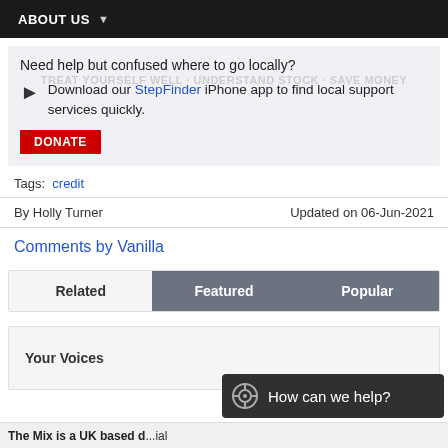ABOUT US
Need help but confused where to go locally? Download our StepFinder iPhone app to find local support services quickly.
DONATE
Tags: credit
By Holly Turner    Updated on 06-Jun-2021
Comments by Vanilla
Related | Featured | Popular
Your Voices
The Mix is a UK based d... ial
How can we help?